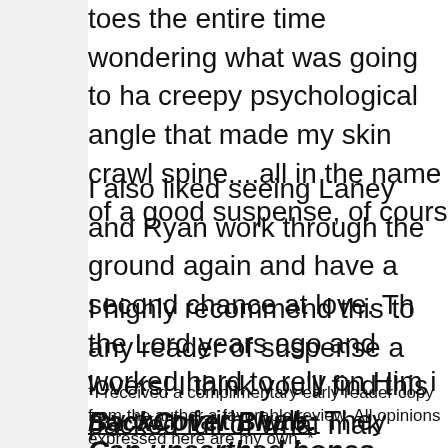toes the entire time wondering what was going to ha creepy psychological angle that made my skin crawl spine....all in the name of a good suspense, of cours
I also liked seeing Laney and Ryan work through the ground again and have a second chance at love. Th the Lord years ago and worked hard to rely on Him i my own faith walk. They both had great loss when J found peace and was able to forgive. I liked seeing t cold-case crime and catch the killer; I think they mad
I highly recommend this to any reader of suspense a lovers! I think you'll find this packed full of what mak guessing and riveted to the pages!
*I received a complimentary early reader copy from the author a favorable review. All opinions expressed here are my own. *
BackCover Blurb:
Can unearthed bones solve a ten-year-old cold c